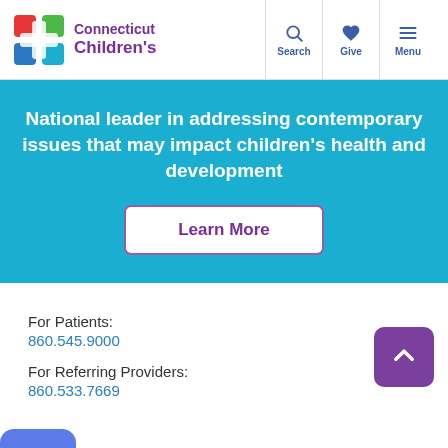[Figure (logo): Connecticut Children's logo with colorful plus sign icon and purple text]
Search  Give  Menu
National leader in addressing contemporary issues that may impact children’s health and development
Learn More
For Patients:
860.545.9000
For Referring Providers:
860.533.7669